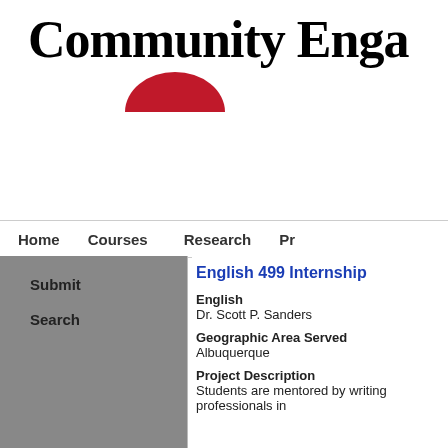Community Enga
Home
Courses
Research
Pr
Submit
Search
English 499 Internship
English
Dr. Scott P. Sanders
Geographic Area Served
Albuquerque
Project Description
Students are mentored by writing professionals in community settings. Working in a number of settings, including...